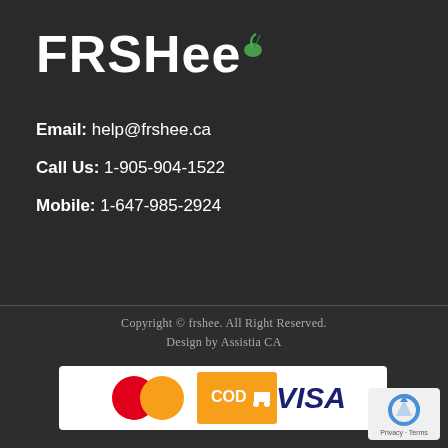FRSHeé
Email: help@frshee.ca
Call Us: 1-905-904-1522
Mobile: 1-647-985-2924
Copyright © frshee. All Right Reserved.
Design by Assistia CA
[Figure (logo): Payment method logos: MasterCard, COD delivery, VISA]
[Figure (logo): Google reCAPTCHA badge with Privacy and Terms links]